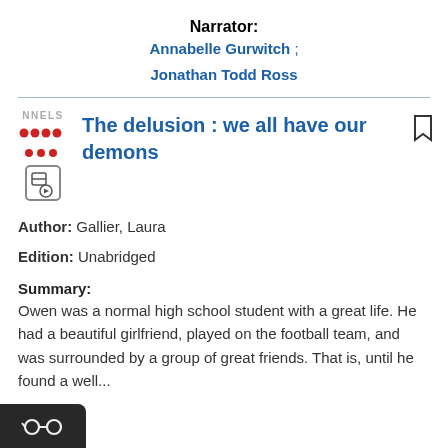Narrator: Annabelle Gurwitch ; Jonathan Todd Ross
[Figure (other): NNELS logo with red dots and audio file icon]
The delusion : we all have our demons
Author: Gallier, Laura
Edition: Unabridged
Summary: Owen was a normal high school student with a great life. He had a beautiful girlfriend, played on the football team, and was surrounded by a group of great friends. That is, until he found a well...
[Figure (other): Glasses icon in bottom-left black bar]